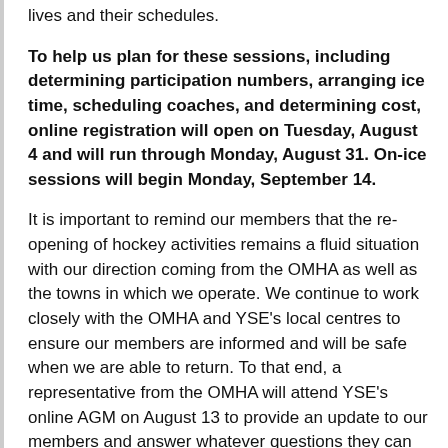lives and their schedules.
To help us plan for these sessions, including determining participation numbers, arranging ice time, scheduling coaches, and determining cost, online registration will open on Tuesday, August 4 and will run through Monday, August 31. On-ice sessions will begin Monday, September 14.
It is important to remind our members that the re-opening of hockey activities remains a fluid situation with our direction coming from the OMHA as well as the towns in which we operate. We continue to work closely with the OMHA and YSE's local centres to ensure our members are informed and will be safe when we are able to return. To that end, a representative from the OMHA will attend YSE's online AGM on August 13 to provide an update to our members and answer whatever questions they can at